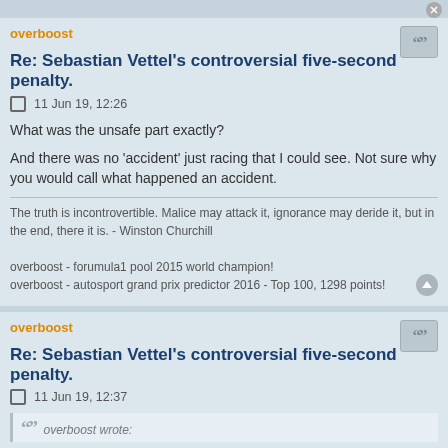overboost
Re: Sebastian Vettel's controversial five-second penalty.
11 Jun 19, 12:26
What was the unsafe part exactly?
And there was no 'accident' just racing that I could see. Not sure why you would call what happened an accident.
The truth is incontrovertible. Malice may attack it, ignorance may deride it, but in the end, there it is. - Winston Churchill
overboost - forumula1 pool 2015 world champion!
overboost - autosport grand prix predictor 2016 - Top 100, 1298 points!
overboost
Re: Sebastian Vettel's controversial five-second penalty.
11 Jun 19, 12:37
overboost wrote: